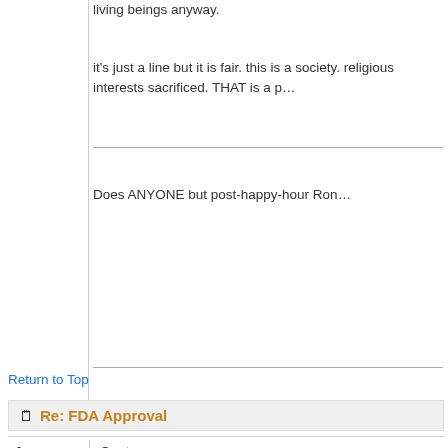living beings anyway.
it's just a line but it is fair. this is a society. religious interests sacrificed. THAT is a p…
Does ANYONE but post-happy-hour Ron…
Return to Top
Re: FDA Approval
Anonymous
Unregistered
Quote:
It becomes a human being when it is viab… as early as 20-21 weeks; that number get… time?
Good grief.
and as we near that technological asympt…